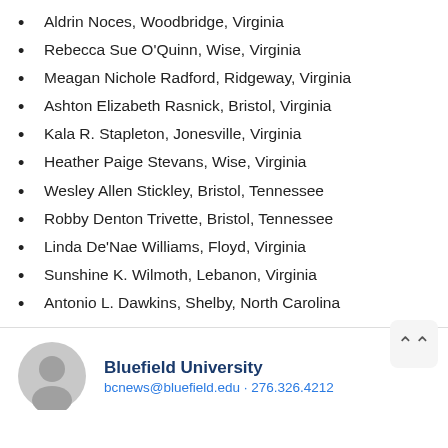Aldrin Noces, Woodbridge, Virginia
Rebecca Sue O'Quinn, Wise, Virginia
Meagan Nichole Radford, Ridgeway, Virginia
Ashton Elizabeth Rasnick, Bristol, Virginia
Kala R. Stapleton, Jonesville, Virginia
Heather Paige Stevans, Wise, Virginia
Wesley Allen Stickley, Bristol, Tennessee
Robby Denton Trivette, Bristol, Tennessee
Linda De'Nae Williams, Floyd, Virginia
Sunshine K. Wilmoth, Lebanon, Virginia
Antonio L. Dawkins, Shelby, North Carolina
Bluefield University
bcnews@bluefield.edu · 276.326.4212